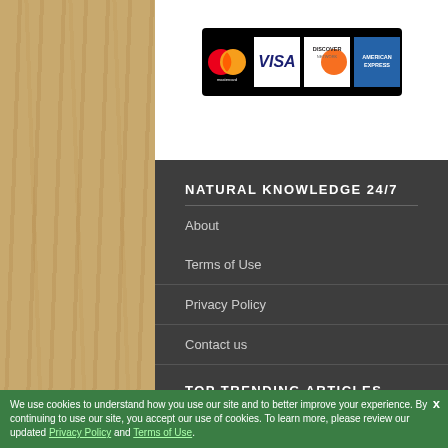[Figure (other): Credit card logos: Mastercard, VISA, Discover, American Express on black background strip]
NATURAL KNOWLEDGE 24/7
About
Terms of Use
Privacy Policy
Contact us
TOP TRENDING ARTICLES
A Look at the Health Risks Facing Seniors
We use cookies to understand how you use our site and to better improve your experience. By continuing to use our site, you accept our use of cookies. To learn more, please review our updated Privacy Policy and Terms of Use.